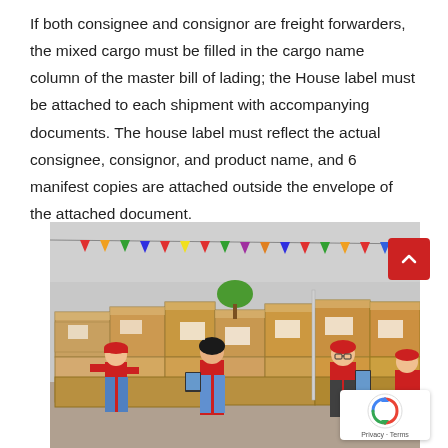If both consignee and consignor are freight forwarders, the mixed cargo must be filled in the cargo name column of the master bill of lading; the House label must be attached to each shipment with accompanying documents. The house label must reflect the actual consignee, consignor, and product name, and 6 manifest copies are attached outside the envelope of the attached document.
[Figure (photo): Warehouse scene with workers in red uniforms sorting and managing large stacks of cardboard boxes. Colorful bunting flags hang from the ceiling. Workers appear to be using tablets/devices to scan or record inventory.]